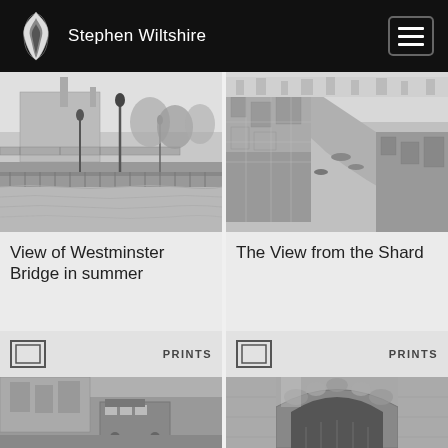Stephen Wiltshire
[Figure (illustration): Detailed pencil drawing of Westminster Bridge in summer, showing the Thames riverbank with ornate lampposts, bridge in background, and Parliament buildings]
View of Westminster Bridge in summer
PRINTS
[Figure (illustration): Detailed pencil drawing aerial view of London from The Shard, showing River Thames snaking through the city with dense urban buildings]
The View from the Shard
PRINTS
[Figure (illustration): Partial pencil drawing of London street scene with double-decker bus]
[Figure (illustration): Partial pencil drawing showing an archway or gate structure]